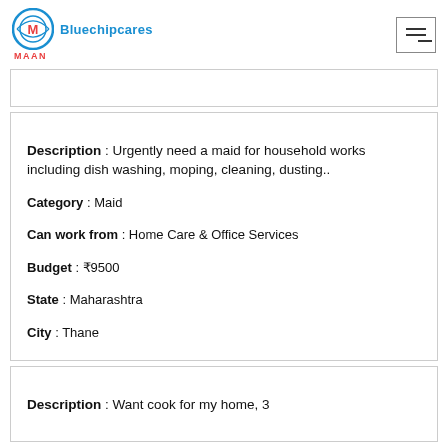[Figure (logo): Bluechipcares MAAN logo with circular M icon and blue brand text]
Description : Urgently need a maid for household works including dish washing, moping, cleaning, dusting..
Category : Maid
Can work from : Home Care & Office Services
Budget : ₹9500
State : Maharashtra
City : Thane
Description : Want cook for my home, 3